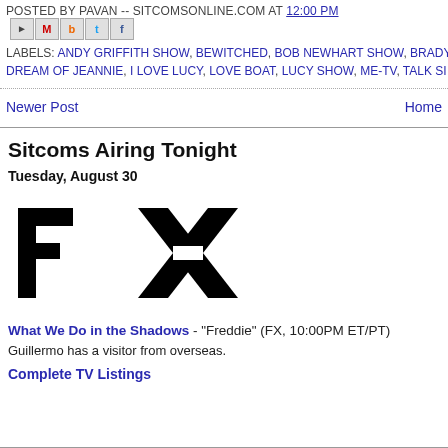POSTED BY PAVAN -- SITCOMSONLINE.COM AT 12:00 PM
LABELS: ANDY GRIFFITH SHOW, BEWITCHED, BOB NEWHART SHOW, BRADY... DREAM OF JEANNIE, I LOVE LUCY, LOVE BOAT, LUCY SHOW, ME-TV, TALK SI...
Newer Post    Home
Sitcoms Airing Tonight
Tuesday, August 30
[Figure (logo): FX network logo in black bold letters]
What We Do in the Shadows - "Freddie" (FX, 10:00PM ET/PT)
Guillermo has a visitor from overseas.
Complete TV Listings